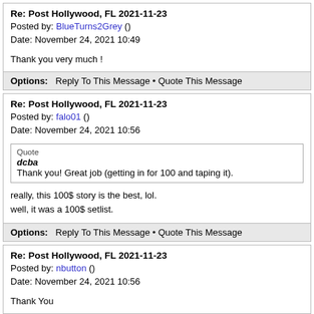Re: Post Hollywood, FL 2021-11-23
Posted by: BlueTurns2Grey ()
Date: November 24, 2021 10:49
Thank you very much !
Options: Reply To This Message • Quote This Message
Re: Post Hollywood, FL 2021-11-23
Posted by: falo01 ()
Date: November 24, 2021 10:56
Quote
dcba
Thank you! Great job (getting in for 100 and taping it).
really, this 100$ story is the best, lol.
well, it was a 100$ setlist.
Options: Reply To This Message • Quote This Message
Re: Post Hollywood, FL 2021-11-23
Posted by: nbutton ()
Date: November 24, 2021 10:56
Thank You
Options: Reply To This Message • Quote This Message